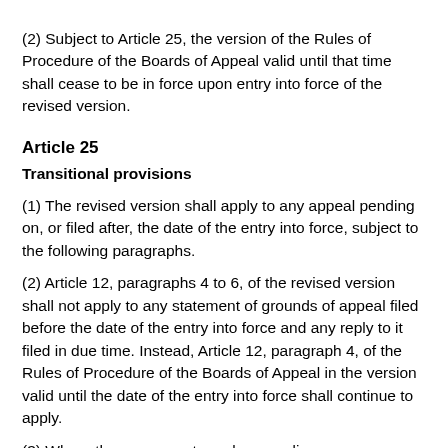(2) Subject to Article 25, the version of the Rules of Procedure of the Boards of Appeal valid until that time shall cease to be in force upon entry into force of the revised version.
Article 25
Transitional provisions
(1) The revised version shall apply to any appeal pending on, or filed after, the date of the entry into force, subject to the following paragraphs.
(2) Article 12, paragraphs 4 to 6, of the revised version shall not apply to any statement of grounds of appeal filed before the date of the entry into force and any reply to it filed in due time. Instead, Article 12, paragraph 4, of the Rules of Procedure of the Boards of Appeal in the version valid until the date of the entry into force shall continue to apply.
(3) Where the summons to oral proceedings or a